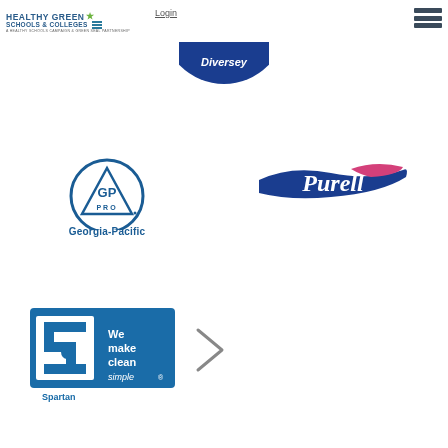[Figure (logo): Healthy Green Schools & Colleges logo with green star and blue text]
Login
[Figure (logo): Diversey logo - blue circle with white text]
[Figure (logo): GP Pro Georgia-Pacific logo - blue circle with triangle and GP PRO text]
[Figure (logo): Purell logo - blue and pink swoosh with white italic text]
[Figure (logo): Spartan Chemical logo - We make clean simple tagline with blue square icon]
[Figure (other): Right arrow chevron navigation element]